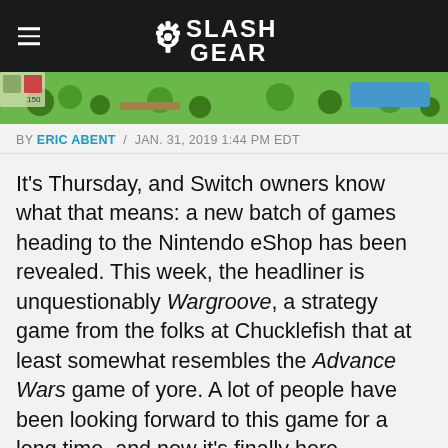SlashGear
[Figure (screenshot): Top-down video game screenshot showing green terrain with trees and map elements (Wargroove game)]
BY ERIC ABENT / JAN. 31, 2019 1:44 PM EDT
It's Thursday, and Switch owners know what that means: a new batch of games heading to the Nintendo eShop has been revealed. This week, the headliner is unquestionably Wargroove, a strategy game from the folks at Chucklefish that at least somewhat resembles the Advance Wars game of yore. A lot of people have been looking forward to this game for a long time, and now it's finally here.
[Figure (photo): Outdoor photo showing red playground slide, white umbrella/canopy, trees in background, blue sky]